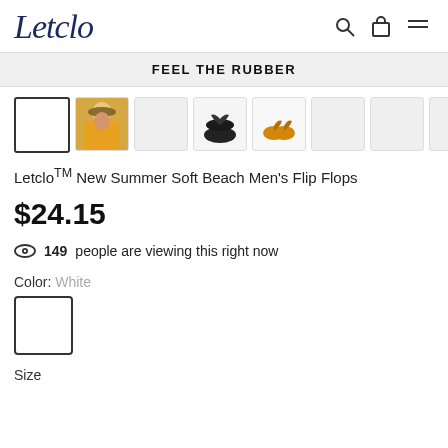Letclo
FEEL THE RUBBER
[Figure (photo): Row of product thumbnail images: blank white square (selected), person wearing hat in yellow outfit, blank light gray square, black flip flop pair (top view), orange/yellow flip flop pair (top view), and several more light gray blank squares]
Letclo™ New Summer Soft Beach Men's Flip Flops
$24.15
149 people are viewing this right now
Color: White
[Figure (other): White color swatch — a square with white background and dark border]
Size